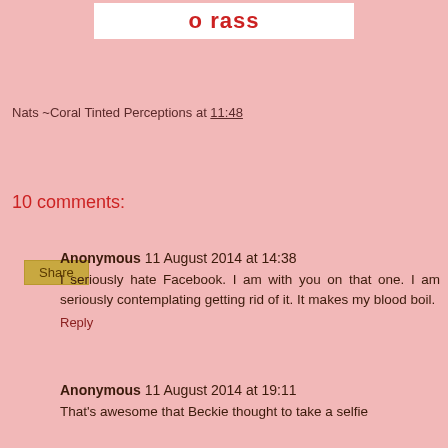[Figure (screenshot): Partial blog header image with red text partially visible at top of page]
Nats ~Coral Tinted Perceptions at 11:48
Share
10 comments:
Anonymous  11 August 2014 at 14:38
I seriously hate Facebook. I am with you on that one. I am seriously contemplating getting rid of it. It makes my blood boil.
Reply
Anonymous  11 August 2014 at 19:11
That's awesome that Beckie thought to take a selfie